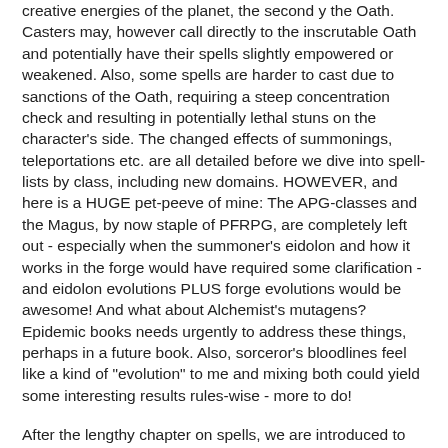creative energies of the planet, the second y the Oath. Casters may, however call directly to the inscrutable Oath and potentially have their spells slightly empowered or weakened. Also, some spells are harder to cast due to sanctions of the Oath, requiring a steep concentration check and resulting in potentially lethal stuns on the character's side. The changed effects of summonings, teleportations etc. are all detailed before we dive into spell-lists by class, including new domains. HOWEVER, and here is a HUGE pet-peeve of mine: The APG-classes and the Magus, by now staple of PFRPG, are completely left out - especially when the summoner's eidolon and how it works in the forge would have required some clarification - and eidolon evolutions PLUS forge evolutions would be awesome! And what about Alchemist's mutagens? Epidemic books needs urgently to address these things, perhaps in a future book. Also, sorceror's bloodlines feel like a kind of "evolution" to me and mixing both could yield some interesting results rules-wise - more to do!
After the lengthy chapter on spells, we are introduced to new magical items, artifacts (Ever wanted fully functional